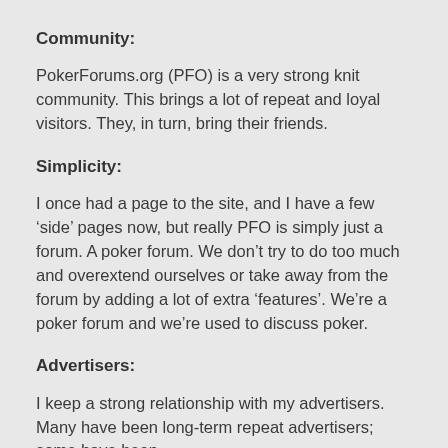Community:
PokerForums.org (PFO) is a very strong knit community. This brings a lot of repeat and loyal visitors. They, in turn, bring their friends.
Simplicity:
I once had a page to the site, and I have a few ‘side’ pages now, but really PFO is simply just a forum. A poker forum. We don’t try to do too much and overextend ourselves or take away from the forum by adding a lot of extra ‘features’. We’re a poker forum and we’re used to discuss poker.
Advertisers:
I keep a strong relationship with my advertisers. Many have been long-term repeat advertisers; some have been